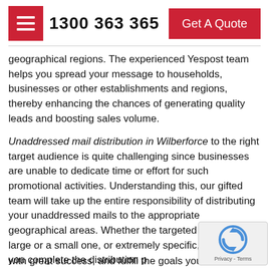[Figure (other): Red hamburger menu button with three white horizontal lines]
1300 363 365
Get A Quote
geographical regions. The experienced Yespost team helps you spread your message to households, businesses or other establishments and regions, thereby enhancing the chances of generating quality leads and boosting sales volume.
Unaddressed mail distribution in Wilberforce to the right target audience is quite challenging since businesses are unable to dedicate time or effort for such promotional activities. Understanding this, our gifted team will take up the entire responsibility of distributing your unaddressed mails to the appropriate geographical areas. Whether the targeted area is a large or a small one, or extremely specific, we can help you complete the distribution p... with great success, and fulfill the goals you have se...
[Figure (other): reCAPTCHA badge with rotating arrows icon and Privacy - Terms text]